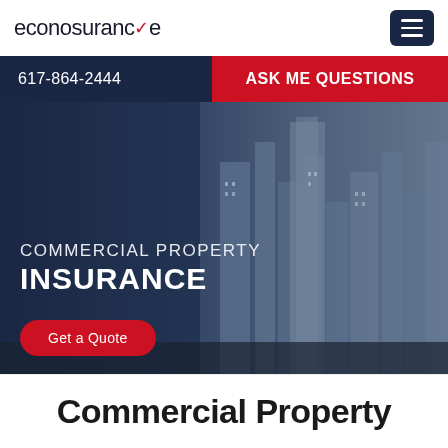econosurance
617-864-2444
ASK ME QUESTIONS
[Figure (photo): Hero banner with city skyline/skyscrapers in dark blue overlay with commercial property insurance text and Get a Quote button]
COMMERCIAL PROPERTY INSURANCE
Get a Quote
Commercial Property